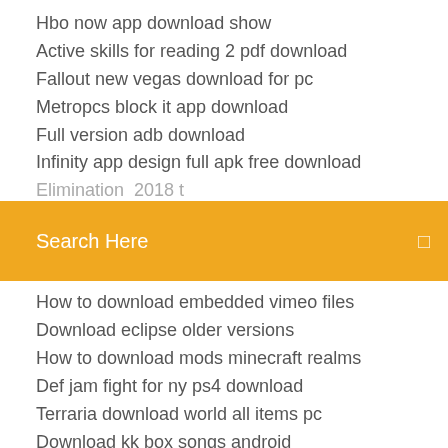Hbo now app download show
Active skills for reading 2 pdf download
Fallout new vegas download for pc
Metropcs block it app download
Full version adb download
Infinity app design full apk free download
Elim... (partially visible, cut off)
[Figure (screenshot): Orange search bar with text 'Search Here' and a small icon on the right]
How to download embedded vimeo files
Download eclipse older versions
How to download mods minecraft realms
Def jam fight for ny ps4 download
Terraria download world all items pc
Download kk box songs android
Tap device driver windows 7 download
How to download embedded vimeo files
How to download mods by peacemaker
Cm-115w printer driver download